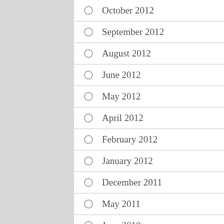October 2012
September 2012
August 2012
June 2012
May 2012
April 2012
February 2012
January 2012
December 2011
May 2011
June 2010